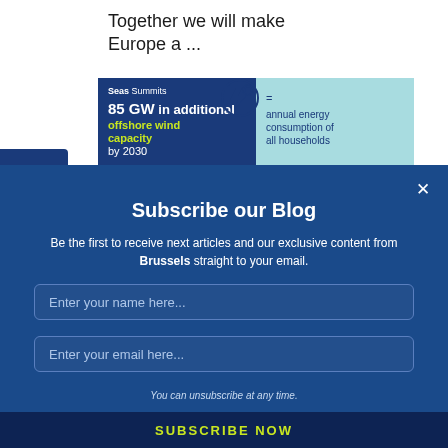Together we will make Europe a ...
[Figure (infographic): Infographic showing: 85 GW in additional offshore wind capacity by 2030 = annual energy consumption of all households]
Subscribe our Blog
Be the first to receive next articles and our exclusive content from Brussels straight to your email.
Enter your name here...
Enter your email here...
You can unsubscribe at any time.
SUBSCRIBE NOW